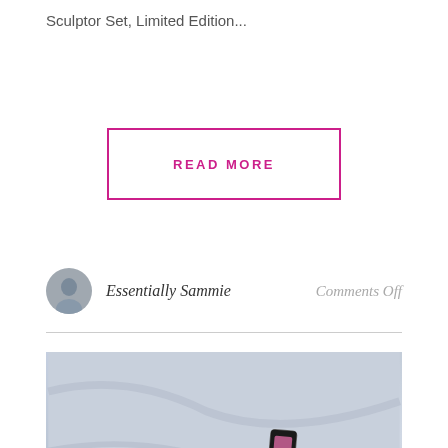Sculptor Set, Limited Edition...
READ MORE
Essentially Sammie
Comments Off
[Figure (photo): Flatlay photo of makeup products on a marble surface: two mascara/lipstick tubes with dark pattern, one lip gloss tube with pink/mauve color, and a round compact/mirror with polka dot pattern in pink. A hot pink cosmetics pouch is visible at the bottom.]